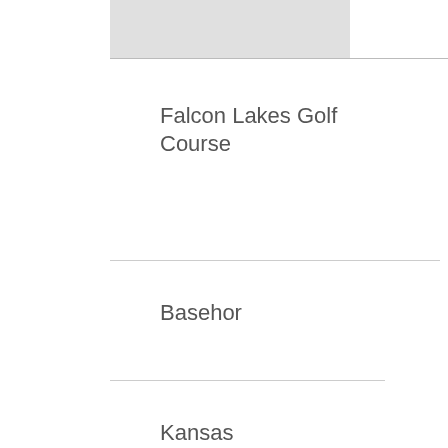Falcon Lakes Golf Course
Basehor
Kansas
Falcon Ridge Golf Course
Lenexa
Kansas